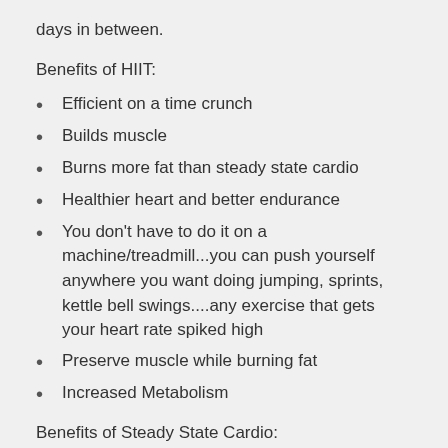days in between.
Benefits of HIIT:
Efficient on a time crunch
Builds muscle
Burns more fat than steady state cardio
Healthier heart and better endurance
You don't have to do it on a machine/treadmill...you can push yourself anywhere you want doing jumping, sprints, kettle bell swings....any exercise that gets your heart rate spiked high
Preserve muscle while burning fat
Increased Metabolism
Benefits of Steady State Cardio:
Beginner friendly if you are new to doing cardio
Promotes recovery
Helps improve endurance